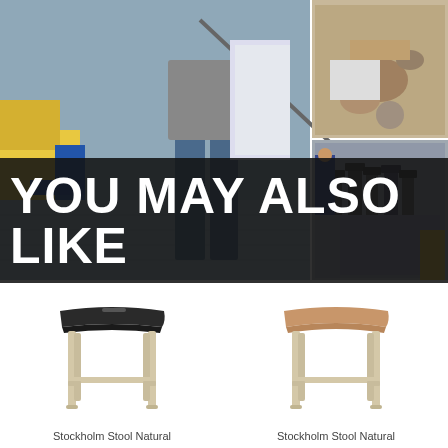[Figure (photo): Collage of factory/workshop images showing workers and manufacturing processes]
YOU MAY ALSO LIKE
[Figure (photo): Stockholm Stool Natural with dark black seat on light wood frame]
[Figure (photo): Stockholm Stool Natural with natural wood seat on light wood frame]
Stockholm Stool Natural
Stockholm Stool Natural